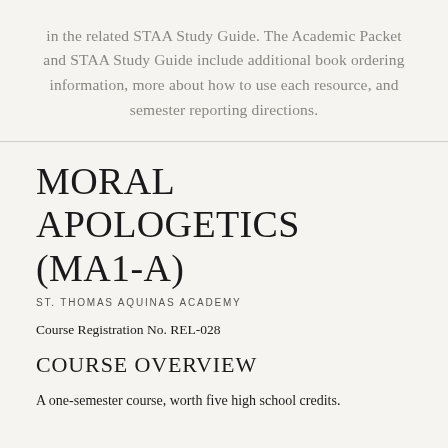in the related STAA Study Guide. The Academic Packet and STAA Study Guide include additional book ordering information, more about how to use each resource, and semester reporting directions.
MORAL APOLOGETICS (MA1-A)
ST. THOMAS AQUINAS ACADEMY
Course Registration No. REL-028
COURSE OVERVIEW
A one-semester course, worth five high school credits.